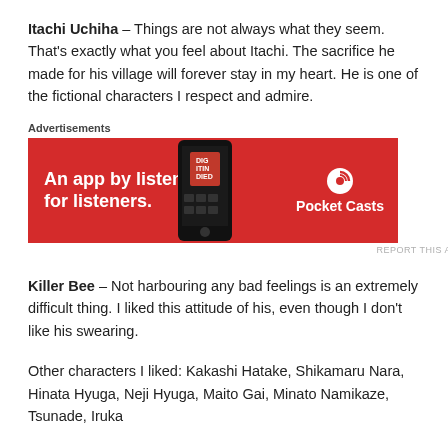Itachi Uchiha – Things are not always what they seem. That's exactly what you feel about Itachi. The sacrifice he made for his village will forever stay in my heart. He is one of the fictional characters I respect and admire.
[Figure (other): Pocket Casts advertisement banner: red background with phone image and text 'An app by listeners, for listeners.' with Pocket Casts logo]
Killer Bee – Not harbouring any bad feelings is an extremely difficult thing. I liked this attitude of his, even though I don't like his swearing.
Other characters I liked: Kakashi Hatake, Shikamaru Nara, Hinata Hyuga, Neji Hyuga, Maito Gai, Minato Namikaze, Tsunade, Iruka
No offence to the Sasuke fandom, I honestly don't get what